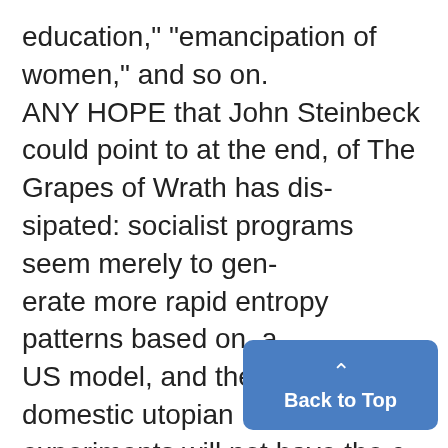education," "emancipation of women," and so on. ANY HOPE that John Steinbeck could point to at the end, of The Grapes of Wrath has dis-sipated: socialist programs seem merely to gen-erate more rapid entropy patterns based on ,a US model, and the few surviving domestic utopian experiments will not have the c im-prove the lot of significant numbers of
[Figure (other): Blue 'Back to Top' button with upward caret arrow icon]